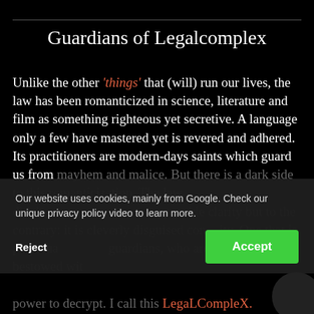Guardians of Legalcomplex
Unlike the other 'things' that (will) run our lives, the law has been romanticized in science, literature and film as something righteous yet secretive. A language only a few have mastered yet is revered and adhered. Its practitioners are modern-days saints which guard us from mayhem and malice. But there is a dark side to this romanticization. The law didn't provide clarity but to the contrary: it is cleverly disguised complexity. One that is perpetuated by its guardians, who are the ones bestowed with the power to decrypt. I call this LegaLCompleX.
Our website uses cookies, mainly from Google. Check our unique privacy policy video to learn more.